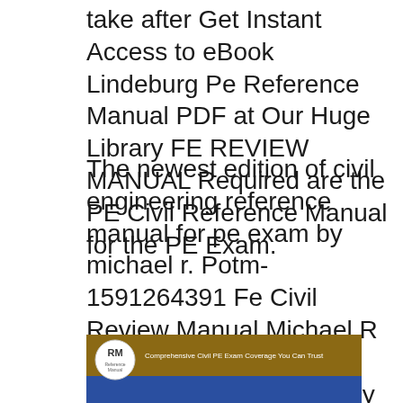take after Get Instant Access to eBook Lindeburg Pe Reference Manual PDF at Our Huge Library FE REVIEW MANUAL Required are the PE Civil Reference Manual for the PE Exam.
The newest edition of civil engineering reference manual for pe exam by michael r. Potm-1591264391 Fe Civil Review Manual Michael R Lindeburg New Free Shipping Amazon.in - Buy PE Civil Reference Manual book online at best prices in India on Amazon.in. Read PE Civil Reference Manual book reviews & author details and more at
[Figure (photo): Book cover of PE Civil Reference Manual showing brown/tan top bar with 'RM Reference Manual' logo circle on left and text 'Comprehensive Civil PE Exam Coverage You Can Trust' on right, with blue bottom section.]